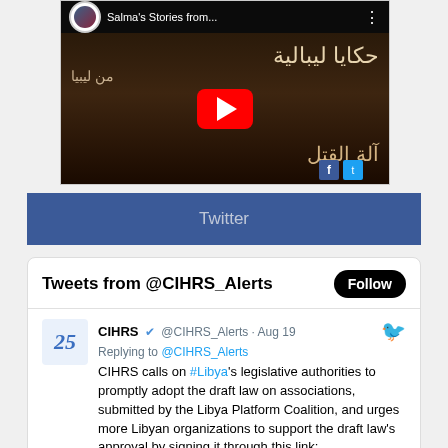[Figure (screenshot): YouTube video thumbnail showing 'Salma's Stories from...' with Arabic text and red play button]
[Figure (screenshot): Twitter widget header bar with dark blue background showing 'Twitter' label]
[Figure (screenshot): Twitter widget showing @CIHRS_Alerts tweet from Aug 19. Text: 'CIHRS calls on #Libya’s legislative authorities to promptly adopt the draft law on associations, submitted by the Libya Platform Coalition, and urges more Libyan organizations to support the draft law’s approval by signing it through this link: cihrs.org/libya_cihrs_wo']